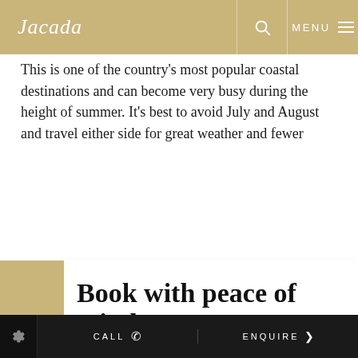Jacada  |  [search icon]  MENU
This is one of the country's most popular coastal destinations and can become very busy during the height of summer. It's best to avoid July and August and travel either side for great weather and fewer
Book with peace of mind
We've designed our peace of mind policy to allow you to book your adventure with confidence.
TAKE ME THERE
It's...including The Amalfi Coast...
CALL  /  ENQUIRE >